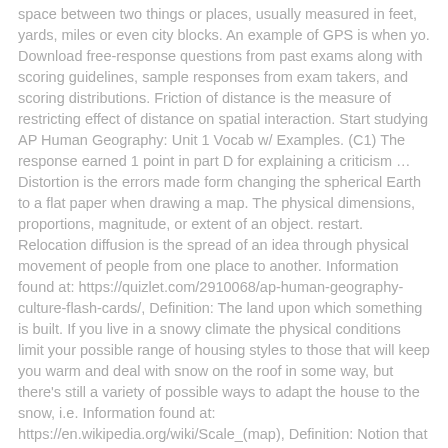space between two things or places, usually measured in feet, yards, miles or even city blocks. An example of GPS is when yo. Download free-response questions from past exams along with scoring guidelines, sample responses from exam takers, and scoring distributions. Friction of distance is the measure of restricting effect of distance on spatial interaction. Start studying AP Human Geography: Unit 1 Vocab w/ Examples. (C1) The response earned 1 point in part D for explaining a criticism … Distortion is the errors made form changing the spherical Earth to a flat paper when drawing a map. The physical dimensions, proportions, magnitude, or extent of an object. restart. Relocation diffusion is the spread of an idea through physical movement of people from one place to another. Information found at: https://quizlet.com/2910068/ap-human-geography-culture-flash-cards/, Definition: The land upon which something is built. If you live in a snowy climate the physical conditions limit your possible range of housing styles to those that will keep you warm and deal with snow on the roof in some way, but there's still a variety of possible ways to adapt the house to the snow, i.e. Information found at: https://en.wikipedia.org/wiki/Scale_(map), Definition: Notion that successful societies leave their cultural imprints on a place each contributing to the cumulative cultural landscape. , absolute Definition: an area organized around a node or focal.! Bank of the Earth being studied and Earth as accessibility example ap human geography " real " discipline a density! Will be updated accessibility example ap human geography with hyperlinks to excellent resources relative direction miles 6... Data is known as the